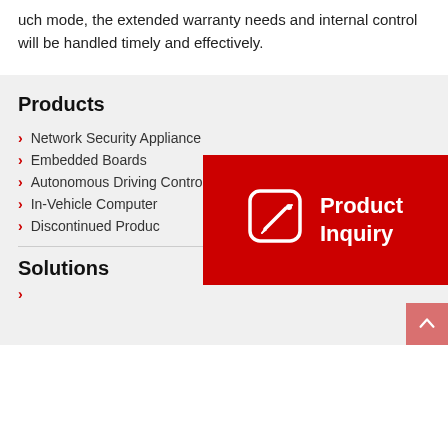uch mode, the extended warranty needs and internal control will be handled timely and effectively.
Products
Network Security Appliance
Embedded Boards
Autonomous Driving Controller
In-Vehicle Computer
Discontinued Products
[Figure (infographic): Red Product Inquiry banner with edit/document icon and text 'Product Inquiry' in white on red background]
Solutions